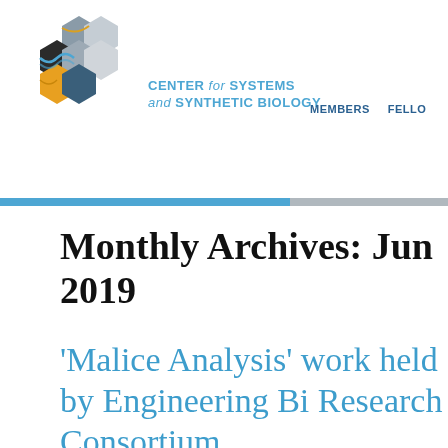[Figure (logo): Center for Systems and Synthetic Biology hexagonal logo with colored hexagons (black, gray, orange, blue) arranged in a cluster]
CENTER for SYSTEMS and SYNTHETIC BIOLOGY  MEMBERS  FELLO
Monthly Archives: June 2019
‘Malice Analysis’ work held by Engineering B Research Consortium